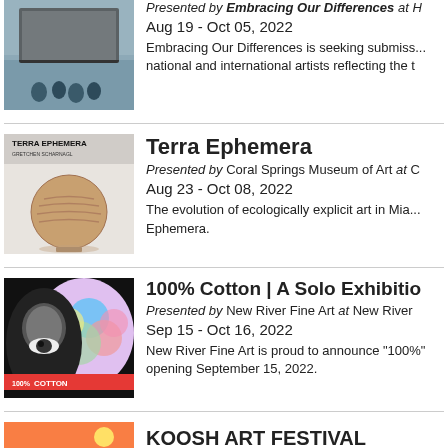[Figure (photo): Outdoor art installation with people viewing large billboard artwork]
Presented by Embracing Our Differences at H
Aug 19 - Oct 05, 2022
Embracing Our Differences is seeking submissions from national and international artists reflecting the t
[Figure (photo): Terra Ephemera book cover with a round wood-grain sphere on pedestal, by Gretchen Scharnagl]
Terra Ephemera
Presented by Coral Springs Museum of Art at C
Aug 23 - Oct 08, 2022
The evolution of ecologically explicit art in Miami... Ephemera.
[Figure (photo): 100% Cotton exhibition poster with colorful artistic face collage]
100% Cotton | A Solo Exhibitio
Presented by New River Fine Art at New River
Sep 15 - Oct 16, 2022
New River Fine Art is proud to announce "100%" opening September 15, 2022.
[Figure (photo): Koosh Art Festival colorful poster with food trucks]
KOOSH ART FESTIVAL
Presented by KOOSH & CO. at KOOSH LIVIN